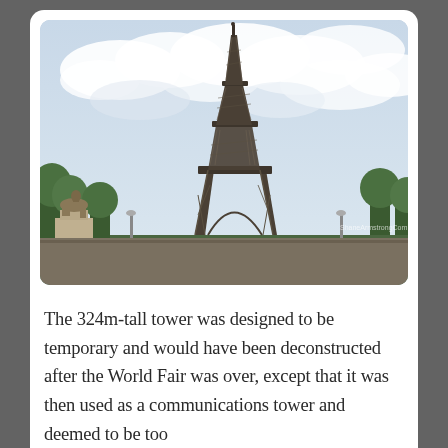[Figure (photo): Photograph of the Eiffel Tower in Paris, viewed from the front with a partly cloudy sky. A classical sculpture on a pedestal is visible in the lower left, and trees line the background. A watermark reads 'ShaneArmstrongCom' in the lower right corner.]
The 324m-tall tower was designed to be temporary and would have been deconstructed after the World Fair was over, except that it was then used as a communications tower and deemed to be too